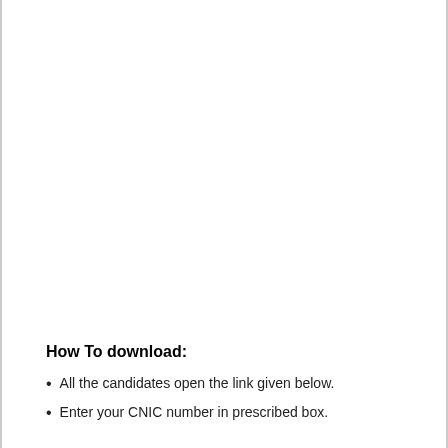How To download:
All the candidates open the link given below.
Enter your CNIC number in prescribed box.